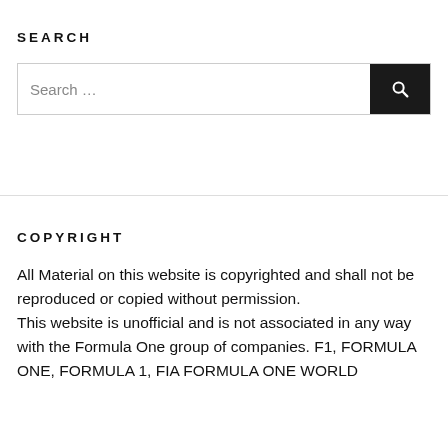SEARCH
[Figure (screenshot): A search bar with text 'Search …' and a dark search button with a magnifying glass icon]
COPYRIGHT
All Material on this website is copyrighted and shall not be reproduced or copied without permission. This website is unofficial and is not associated in any way with the Formula One group of companies. F1, FORMULA ONE, FORMULA 1, FIA FORMULA ONE WORLD